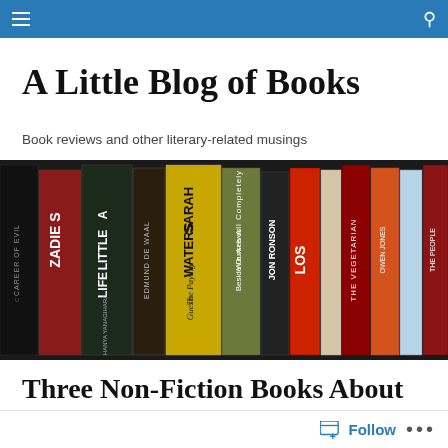Navigation bar with hamburger menu and search icon
A Little Blog of Books
Book reviews and other literary-related musings
[Figure (photo): A row of book spines on a shelf, including titles such as Career of Evil, Zadie S[mith], A Little Life by Hanya Yanagihara, Edmund de Waal, Sarah Waters The Paying Guests, Jon Ronson, We Are All Completely Beside Ourselves, LOS, The Vegetarian, Owen Jones, The People in the Trees, Sarah Moss, and others.]
Three Non-Fiction Books About Books
I have been reading more non-fiction than ever recently
Follow  •••